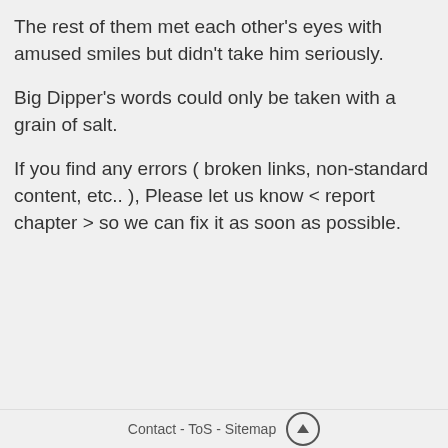The rest of them met each other’s eyes with amused smiles but didn’t take him seriously.
Big Dipper’s words could only be taken with a grain of salt.
If you find any errors ( broken links, non-standard content, etc.. ), Please let us know < report chapter > so we can fix it as soon as possible.
[Figure (other): Navigation buttons: left arrow (green), table/menu icon (green), right arrow (green), and an orange Report chapter button below]
Contact - ToS - Sitemap